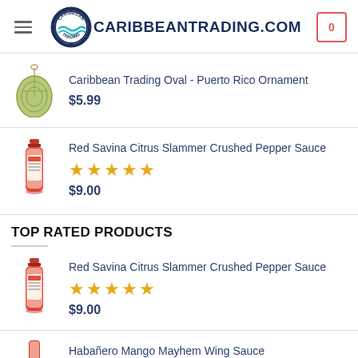CARIBBEANTRADING.COM
Caribbean Trading Oval - Puerto Rico Ornament
$5.99
Red Savina Citrus Slammer Crushed Pepper Sauce
★★★★★
$9.00
TOP RATED PRODUCTS
Red Savina Citrus Slammer Crushed Pepper Sauce
★★★★★
$9.00
Habañero Mango Mayhem Wing Sauce